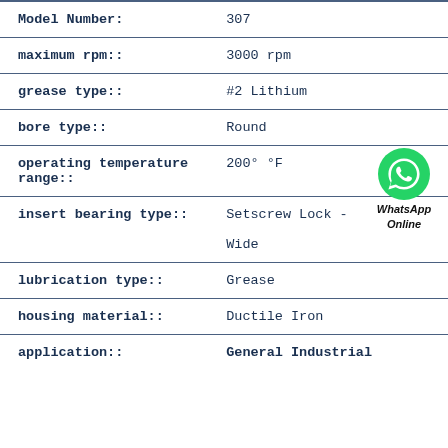| Attribute | Value |
| --- | --- |
| Model Number: | 307 |
| maximum rpm:: | 3000 rpm |
| grease type:: | #2 Lithium |
| bore type:: | Round |
| operating temperature range:: | 200° °F |
| insert bearing type:: | Setscrew Lock - Wide |
| lubrication type:: | Grease |
| housing material:: | Ductile Iron |
| application:: | General Industrial |